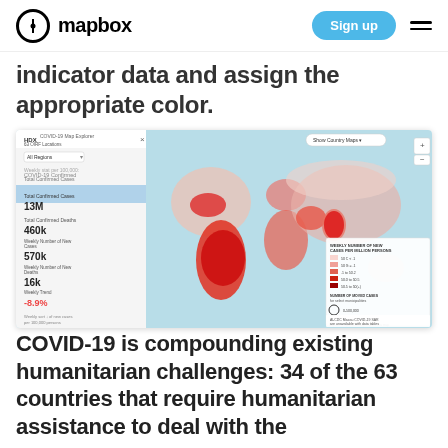mapbox — Sign up
indicator data and assign the appropriate color.
[Figure (screenshot): HDX COVID-19 Map Explorer showing a world map with countries colored in shades of red/pink indicating COVID-19 confirmed cases and deaths. Left panel shows: Total Confirmed Cases 13M, Total Confirmed Deaths 460k, Weekly Number of New Cases 570k, Weekly Number of New Deaths 16k, Weekly Trend -8.9%. Right legend panel shows color scale for weekly number of new cases per million persons.]
COVID-19 is compounding existing humanitarian challenges: 34 of the 63 countries that require humanitarian assistance to deal with the